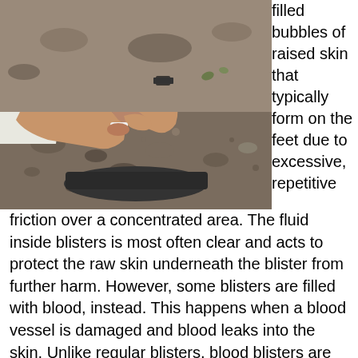[Figure (photo): Close-up photo of a person's hands applying a bandage or tape to their foot/toe, outdoors on a rocky gravel surface. A red bag is partially visible at the upper right.]
filled bubbles of raised skin that typically form on the feet due to excessive, repetitive friction over a concentrated area. The fluid inside blisters is most often clear and acts to protect the raw skin underneath the blister from further harm. However, some blisters are filled with blood, instead. This happens when a blood vessel is damaged and blood leaks into the skin. Unlike regular blisters, blood blisters are usually the result of a sudden impact or pinching of the skin, rather than friction. The skin underneath a blood blister may be more prone to infection, so it is very important that you avoid popping or the blood blister the blister self and...